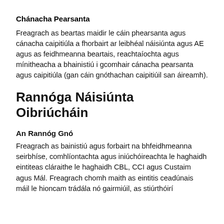Chánacha Pearsanta
Freagrach as beartas maidir le cáin phearsanta agus cánacha caipitiúla a fhorbairt ar leibhéal náisiúnta agus AE agus as feidhmeanna beartais, reachtaíochta agus mínitheacha a bhainistiú i gcomhair cánacha pearsanta agus caipitiúla (gan cáin gnóthachan caipitiúil san áireamh).
Rannóga Náisiúnta Oibriúcháin
An Rannóg Gnó
Freagrach as bainistiú agus forbairt na bhfeidhmeanna seirbhíse, comhlíontachta agus iniúchóireachta le haghaidh eintiteas cláraithe le haghaidh CBL, CCI agus Custaim agus Mál. Freagrach chomh maith as eintitis ceadúnais máil le hioncam trádála nó gairmiúil, as stiúrthóirí